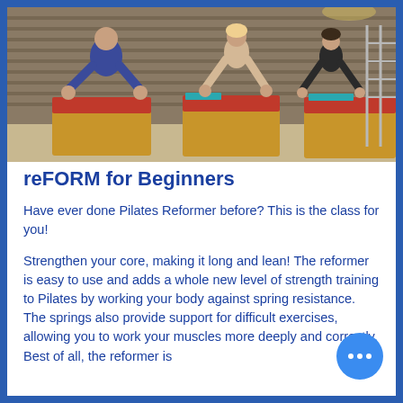[Figure (photo): People doing Pilates on reformer equipment in a gym studio. Women in exercise clothing are positioned on wooden box-type reformers with red padding, leaning forward in a plank-like position. Gym equipment and bars visible in background.]
reFORM for Beginners
Have ever done Pilates Reformer before? This is the class for you!
Strengthen your core, making it long and lean! The reformer is easy to use and adds a whole new level of strength training to Pilates by working your body against spring resistance. The springs also provide support for difficult exercises, allowing you to work your muscles more deeply and correctly. Best of all, the reformer is